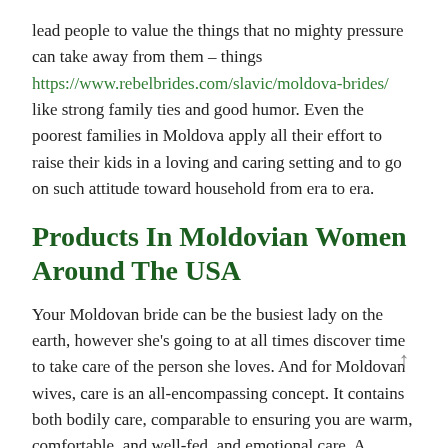lead people to value the things that no mighty pressure can take away from them – things https://www.rebelbrides.com/slavic/moldova-brides/ like strong family ties and good humor. Even the poorest families in Moldova apply all their effort to raise their kids in a loving and caring setting and to go on such attitude toward household from era to era.
Products In Moldovian Women Around The USA
Your Moldovan bride can be the busiest lady on the earth, however she's going to at all times discover time to take care of the person she loves. And for Moldovan wives, care is an all-encompassing concept. It contains both bodily care, comparable to ensuring you are warm, comfortable, and well-fed, and emotional care. A Moldovan spouse will put